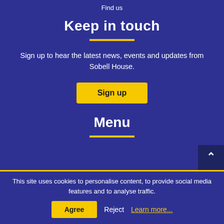Find us
Keep in touch
Sign up to hear the latest news, events and updates from Sobell House.
Sign up
Menu
This site uses cookies to personalise content, to provide social media features and to analyse traffic.
Agree  Reject  Learn more...